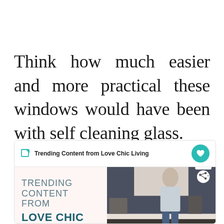Think how much easier and more practical these windows would have been with self cleaning glass.
[Figure (screenshot): A content widget showing 'Trending Content from Love Chic Living' with a pink background panel showing text 'TRENDING CONTENT FROM LOVE CHIC' and a photo of a woman standing in a kitchen. Includes a heart button and share count of 64.]